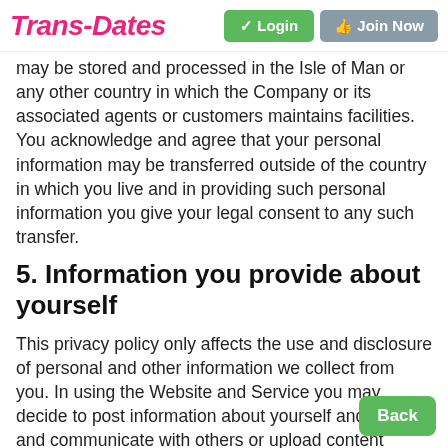Trans-Dates | Login | Join Now
may be stored and processed in the Isle of Man or any other country in which the Company or its associated agents or customers maintains facilities. You acknowledge and agree that your personal information may be transferred outside of the country in which you live and in providing such personal information you give your legal consent to any such transfer.
5. Information you provide about yourself
This privacy policy only affects the use and disclosure of personal and other information we collect from you. In using the Website and Service you may decide to post information about yourself and others and communicate with others or upload content which may include personally identifiable information, such as photographs or